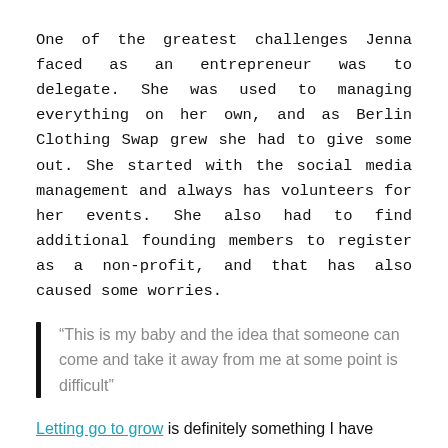One of the greatest challenges Jenna faced as an entrepreneur was to delegate. She was used to managing everything on her own, and as Berlin Clothing Swap grew she had to give some out. She started with the social media management and always has volunteers for her events. She also had to find additional founding members to register as a non-profit, and that has also caused some worries.
“This is my baby and the idea that someone can come and take it away from me at some point is difficult”
Letting go to grow is definitely something I have reflected on before. At the same time, it comes with